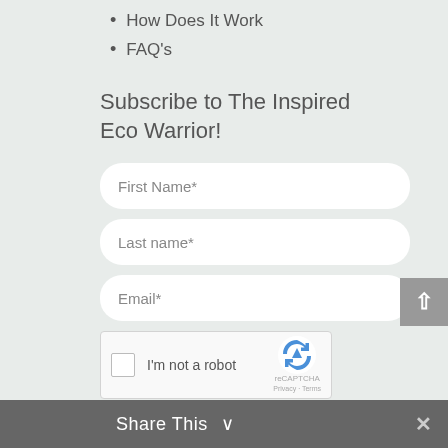How Does It Work
FAQ's
Subscribe to The Inspired Eco Warrior!
First Name*
Last name*
Email*
[Figure (other): reCAPTCHA widget with checkbox labeled 'I'm not a robot' and reCAPTCHA logo with Privacy and Terms links]
Share This  ✕